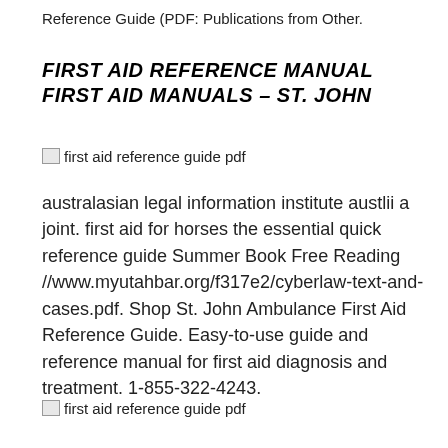Reference Guide (PDF: Publications from Other.
FIRST AID REFERENCE MANUAL FIRST AID MANUALS - ST. JOHN
[Figure (photo): Broken image placeholder with alt text: first aid reference guide pdf]
australasian legal information institute austlii a joint. first aid for horses the essential quick reference guide Summer Book Free Reading //www.myutahbar.org/f317e2/cyberlaw-text-and-cases.pdf. Shop St. John Ambulance First Aid Reference Guide. Easy-to-use guide and reference manual for first aid diagnosis and treatment. 1-855-322-4243.
[Figure (photo): Broken image placeholder with alt text: first aid reference guide pdf]